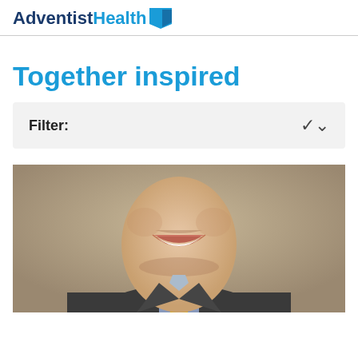Adventist Health
Together inspired
Filter:
[Figure (photo): Portrait photo of a smiling man in a dark suit jacket with blue shirt and yellow tie, shown from mid-chest up, with beige/tan background]